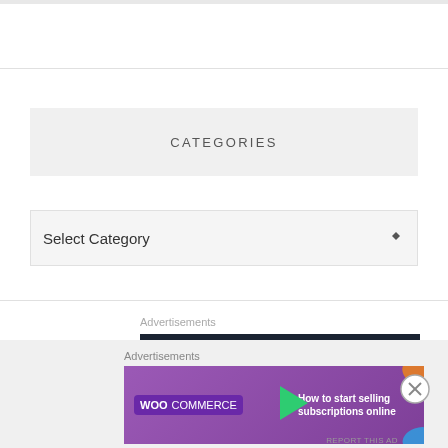CATEGORIES
Select Category
Advertisements
[Figure (illustration): WordPress advertisement with dark navy background showing WordPress logo (circle with W) and text 'Opinions. We all have them!']
Advertisements
[Figure (illustration): WooCommerce advertisement with purple background showing WooCommerce logo and text 'How to start selling subscriptions online' with colorful corner decorations]